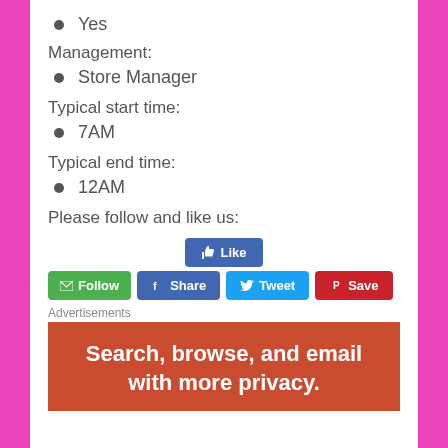Yes
Management:
Store Manager
Typical start time:
7AM
Typical end time:
12AM
Please follow and like us:
[Figure (screenshot): Social media buttons: Follow (green), Like (blue Facebook), Share (blue Facebook), Tweet (Twitter blue), Save (Pinterest red)]
Advertisements
[Figure (other): Advertisement banner: Search, browse, and email with more privacy.]